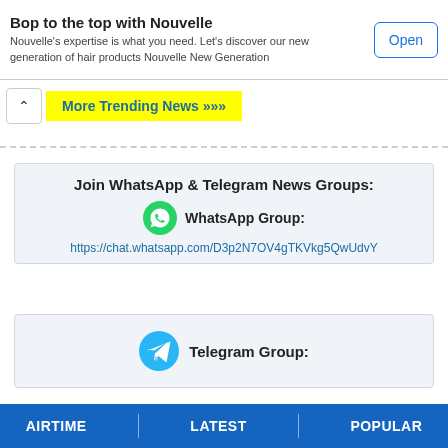Bop to the top with Nouvelle
Nouvelle's expertise is what you need. Let's discover our new generation of hair products Nouvelle New Generation
More Trending News >>>
Join WhatsApp & Telegram News Groups:
WhatsApp Group:
https://chat.whatsapp.com/D3p2N7OV4gTKVkg5QwUdvY
Telegram Group:
Tagged: Chief Mabhikwa  Lupane  Nichodemus Vusumuzi Khumalo
AIRTIME | LATEST | POPULAR